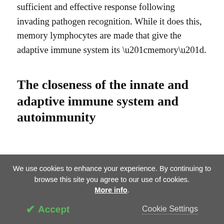sufficient and effective response following invading pathogen recognition. While it does this, memory lymphocytes are made that give the adaptive immune system its “memory”.
The closeness of the innate and adaptive immune system and autoimmunity
Initially, scientists viewed the innate and adaptive immune systems as distinct entities with little in common. However, new research into the basis of
We use cookies to enhance your experience. By continuing to browse this site you agree to our use of cookies. More info.